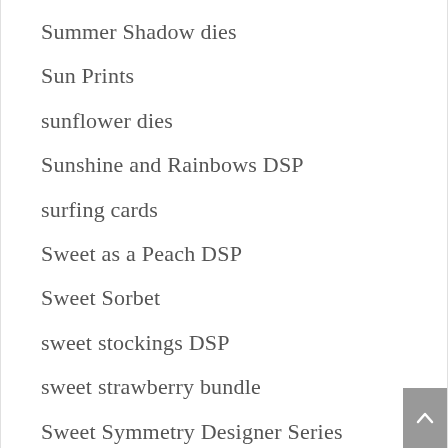Summer Shadow dies
Sun Prints
sunflower dies
Sunshine and Rainbows DSP
surfing cards
Sweet as a Peach DSP
Sweet Sorbet
sweet stockings DSP
sweet strawberry bundle
Sweet Symmetry Designer Series